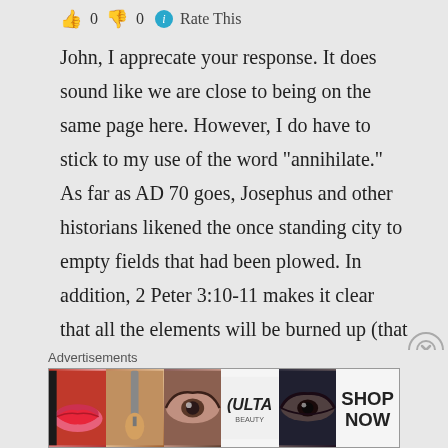👍 0 👎 0 ℹ Rate This
John, I apprecate your response. It does sound like we are close to being on the same page here. However, I do have to stick to my use of the word "annihilate." As far as AD 70 goes, Josephus and other historians likened the once standing city to empty fields that had been plowed. In addition, 2 Peter 3:10-11 makes it clear that all the elements will be burned up (that may apply to AD 70 too, but it also, in my opinion,
Advertisements
[Figure (photo): Advertisement banner for ULTA beauty products showing makeup imagery including lips, brush, eye, ULTA logo, eye, and SHOP NOW text]